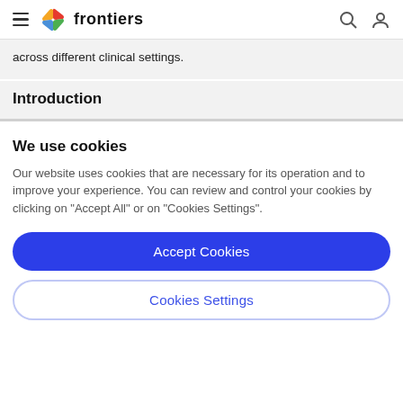frontiers
across different clinical settings.
Introduction
We use cookies
Our website uses cookies that are necessary for its operation and to improve your experience. You can review and control your cookies by clicking on "Accept All" or on "Cookies Settings".
Accept Cookies
Cookies Settings